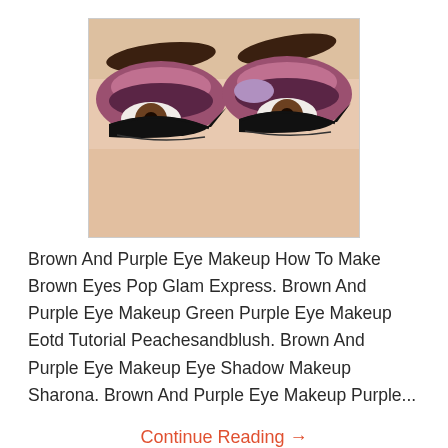[Figure (photo): Close-up photo of a woman's eyes with brown and purple eye makeup, winged eyeliner, and dark eyebrows.]
Brown And Purple Eye Makeup How To Make Brown Eyes Pop Glam Express. Brown And Purple Eye Makeup Green Purple Eye Makeup Eotd Tutorial Peachesandblush. Brown And Purple Eye Makeup Eye Shadow Makeup Sharona. Brown And Purple Eye Makeup Purple...
Continue Reading →